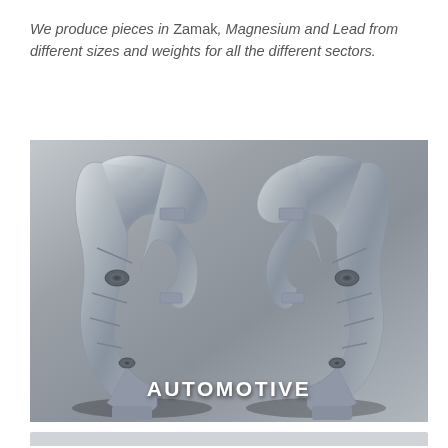We produce pieces in Zamak, Magnesium and Lead from different sizes and weights for all the different sectors.
[Figure (photo): Two mirrored silver die-cast metal automotive parts (Zamak/Magnesium/Lead alloy components) shown side by side against a gray background, with the label 'AUTOMOTIVE' in white bold text at the bottom center.]